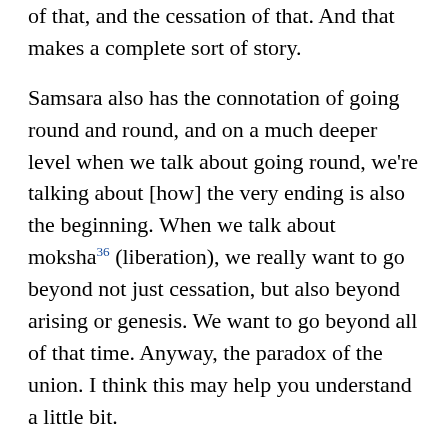of that, and the cessation of that. And that makes a complete sort of story.
Samsara also has the connotation of going round and round, and on a much deeper level when we talk about going round, we're talking about [how] the very ending is also the beginning. When we talk about moksha36 (liberation), we really want to go beyond not just cessation, but also beyond arising or genesis. We want to go beyond all of that time. Anyway, the paradox of the union. I think this may help you understand a little bit.
This is classic Mahayana now. In some of the classic Mahayana texts when we talk about the path of the Buddhadharma, it's categorised into three: the ground, the path, and the end or the